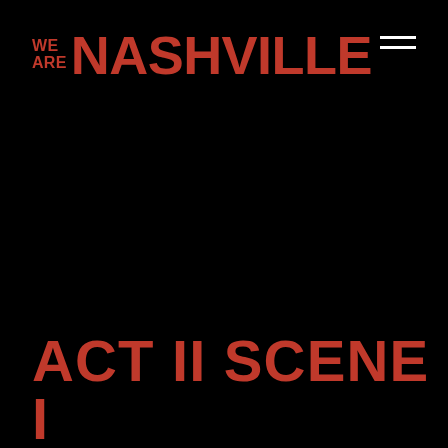[Figure (logo): We Are Nashville logo in red/orange on black background, bold uppercase text]
ACT II SCENE I